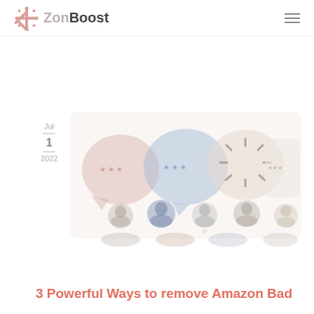ZonBoost
[Figure (illustration): Blog article preview image showing review bubbles with star ratings over reviewer profile avatars, representing Amazon reviews. Faded/loading state with a spinner icon in the center.]
Jul
1
2022
3 Powerful Ways to remove Amazon Bad